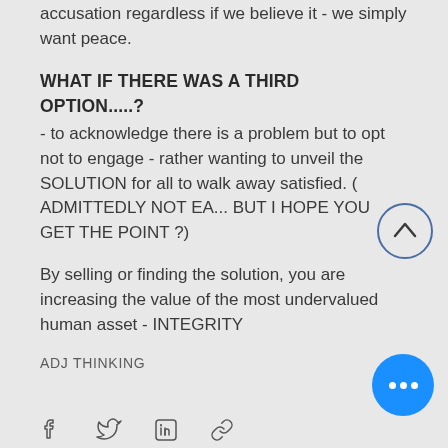accusation regardless if we believe it - we simply want peace.
WHAT IF THERE WAS A THIRD OPTION.....?
- to acknowledge there is a problem but to opt not to engage - rather wanting to unveil the SOLUTION for all to walk away satisfied. ( ADMITTEDLY NOT EA... BUT I HOPE YOU GET THE POINT ?)
By selling or finding  the solution, you are increasing the value of the most undervalued human asset - INTEGRITY
ADJ THINKING
[Figure (infographic): Up arrow circular button (outline circle with chevron up)]
[Figure (infographic): Blue circular more/menu button with three white dots]
[Figure (infographic): Social media icons row: Facebook, Twitter, LinkedIn, Link]